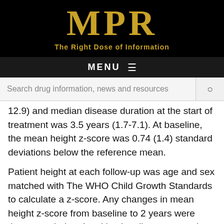[Figure (logo): MPR logo with tagline 'The Right Dose of Information' on black background]
MENU ≡
Search drug information, news and resources
12.9) and median disease duration at the start of treatment was 3.5 years (1.7-7.1). At baseline, the mean height z-score was 0.74 (1.4) standard deviations below the reference mean.
Patient height at each follow-up was age and sex matched with The WHO Child Growth Standards to calculate a z-score. Any changes in mean height z-score from baseline to 2 years were then recorded and multivariate linear regression helped to identify factors associated with a change in height